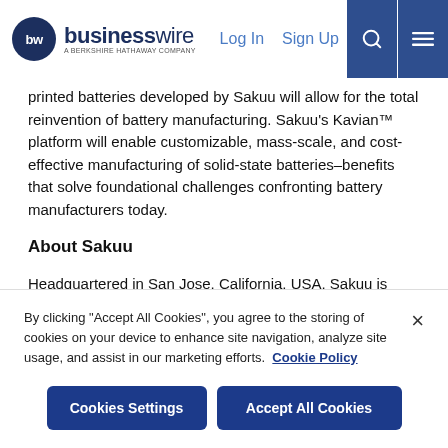businesswire — A Berkshire Hathaway Company | Log In | Sign Up
printed batteries developed by Sakuu will allow for the total reinvention of battery manufacturing. Sakuu's Kavian™ platform will enable customizable, mass-scale, and cost-effective manufacturing of solid-state batteries–benefits that solve foundational challenges confronting battery manufacturers today.
About Sakuu
Headquartered in San Jose, California, USA, Sakuu is reinventing large-scale, sustainable battery technology and manufacturing. Sakuu's breakthrough rapid printed cells deliver best-in-class
By clicking "Accept All Cookies", you agree to the storing of cookies on your device to enhance site navigation, analyze site usage, and assist in our marketing efforts. Cookie Policy
Cookies Settings | Accept All Cookies